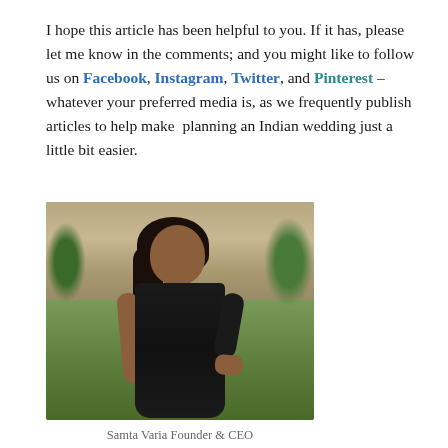I hope this article has been helpful to you. If it has, please let me know in the comments; and you might like to follow us on Facebook, Instagram, Twitter, and Pinterest – whatever your preferred media is, as we frequently publish articles to help make  planning an Indian wedding just a little bit easier.
[Figure (photo): Portrait photo of Samta Varia, a woman with long dark hair wearing a black sleeveless dress, standing outdoors on grass with a stone wall background, smiling at the camera with hands on hips.]
Samta Varia Founder & CEO ShaadiShop: Indian Wedding Venues